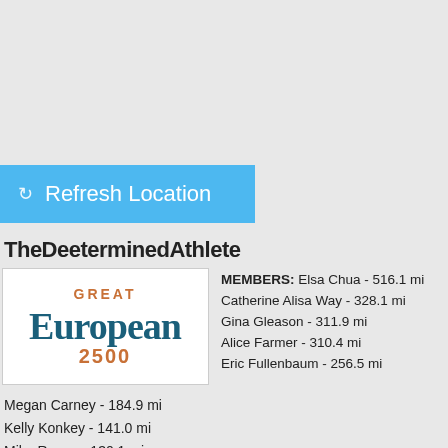[Figure (screenshot): Blue Refresh Location button with refresh icon]
TheDeeterminedAthlete
[Figure (logo): Great European 2500 logo with teal and orange text]
MEMBERS: Elsa Chua - 516.1 mi Catherine Alisa Way - 328.1 mi Gina Gleason - 311.9 mi Alice Farmer - 310.4 mi Eric Fullenbaum - 256.5 mi
Megan Carney - 184.9 mi
Kelly Konkey - 141.0 mi
Mike Rosen - 130.1 mi
Marcie Cook - 102.0 mi
Philip Dunbar - 100.+ mi